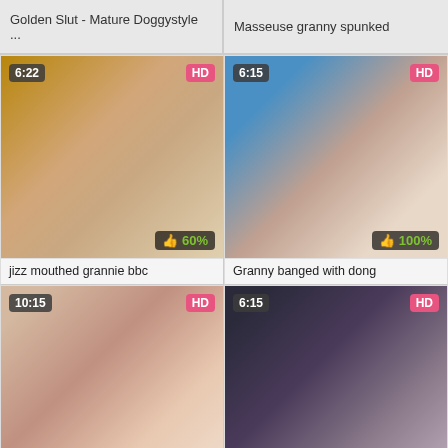Golden Slut - Mature Doggystyle ...
Masseuse granny spunked
[Figure (screenshot): Video thumbnail with time badge 6:22, HD badge, like rating 60%]
jizz mouthed grannie bbc
[Figure (screenshot): Video thumbnail with time badge 6:15, HD badge, like rating 100%]
Granny banged with dong
[Figure (screenshot): Video thumbnail with time badge 10:15, HD badge, like rating 80%]
CHINESE GILF (50) BAREBACK CREA...
[Figure (screenshot): Video thumbnail with time badge 6:15, HD badge, like rating 79%]
Grandma gets doggystyle - Mayna...